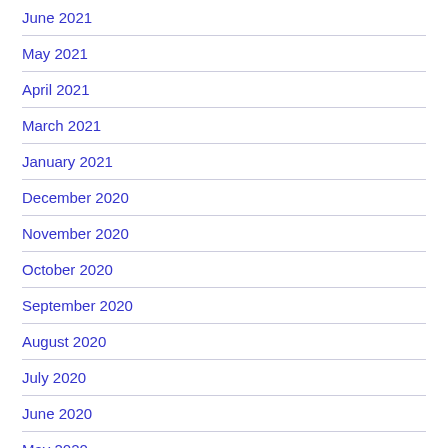June 2021
May 2021
April 2021
March 2021
January 2021
December 2020
November 2020
October 2020
September 2020
August 2020
July 2020
June 2020
May 2020
April 2020